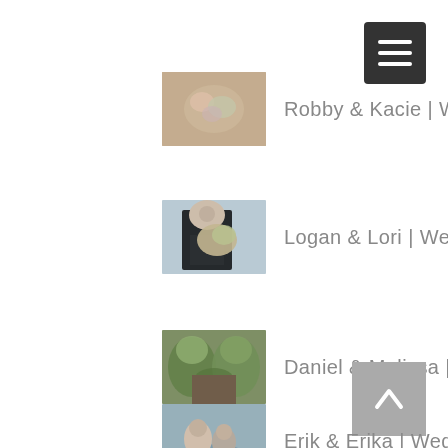[Figure (screenshot): Hamburger menu button, dark grey square with three white horizontal lines]
Robby & Kacie | Wedding
Logan & Lori | Wedding
Daniel & Melissa | Wedding
[Figure (other): Back to top button, grey square with white upward chevron arrow]
Erik & Erika | Wedding